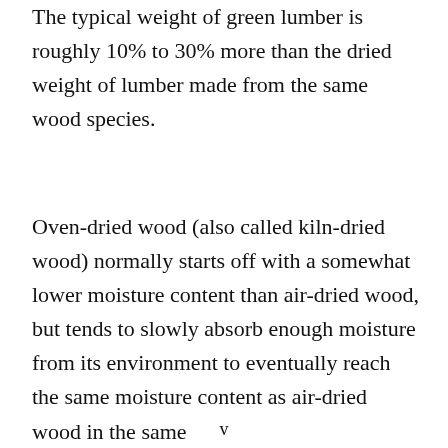The typical weight of green lumber is roughly 10% to 30% more than the dried weight of lumber made from the same wood species.
Oven-dried wood (also called kiln-dried wood) normally starts off with a somewhat lower moisture content than air-dried wood, but tends to slowly absorb enough moisture from its environment to eventually reach the same moisture content as air-dried wood in the same
v